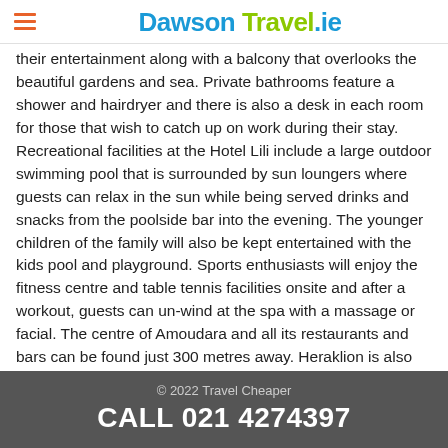Dawson Travel.ie
their entertainment along with a balcony that overlooks the beautiful gardens and sea. Private bathrooms feature a shower and hairdryer and there is also a desk in each room for those that wish to catch up on work during their stay. Recreational facilities at the Hotel Lili include a large outdoor swimming pool that is surrounded by sun loungers where guests can relax in the sun while being served drinks and snacks from the poolside bar into the evening. The younger children of the family will also be kept entertained with the kids pool and playground. Sports enthusiasts will enjoy the fitness centre and table tennis facilities onsite and after a workout, guests can un-wind at the spa with a massage or facial. The centre of Amoudara and all its restaurants and bars can be found just 300 metres away. Heraklion is also just four miles from the property and is connected by a bus that runs every 15 minutes. *Official star rating: 2**
© 2022 Travel Cheaper
CALL 021 4274397